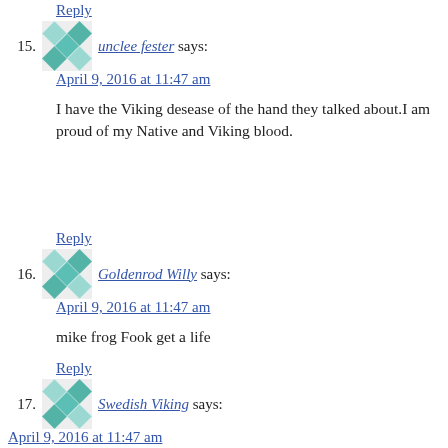Reply
unclee fester says:
April 9, 2016 at 11:47 am
I have the Viking desease of the hand they talked about.I am proud of my Native and Viking blood.
Reply
Goldenrod Willy says:
April 9, 2016 at 11:47 am
mike frog Fook get a life
Reply
Swedish Viking says:
April 9, 2016 at 11:47 am
Brits, Yankees and ruskies will never be vikings. Stop trying to steal our blood and culture just because we pillaged your